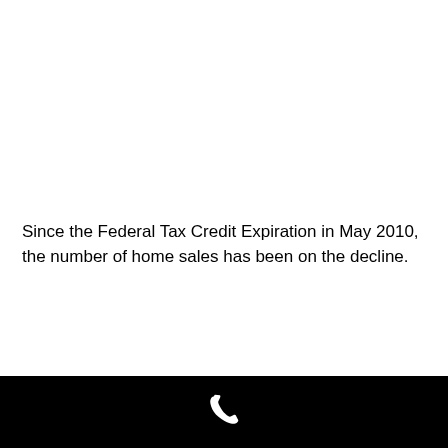Since the Federal Tax Credit Expiration in May 2010, the number of home sales has been on the decline.
[Figure (other): White telephone/phone icon on a black footer bar]